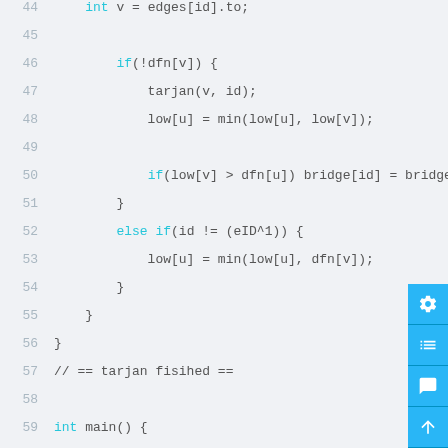Code block showing C++ tarjan algorithm lines 44-63
[Figure (screenshot): Right sidebar with settings, list, chat, and scroll-to-top buttons in blue]